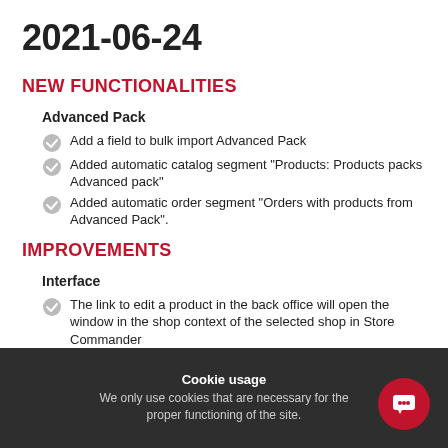2021-06-24
NEW FUNCTIONALITIES
Advanced Pack
Add a field to bulk import Advanced Pack
Added automatic catalog segment "Products: Products packs Advanced pack"
Added automatic order segment "Orders with products from Advanced Pack".
IMPROVEMENTS
Interface
The link to edit a product in the back office will open the window in the shop context of the selected shop in Store Commander
Cookie usage
We only use cookies that are necessary for the proper functioning of the site.